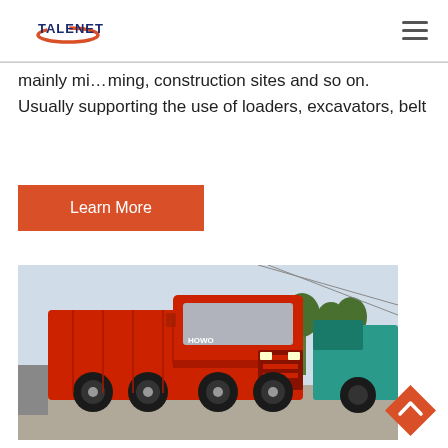TALENET
mainly mi...ming, construction sites and so on. Usually supporting the use of loaders, excavators, belt
[Figure (other): Orange 'Learn More' button]
[Figure (photo): Red dump truck (HOWO) parked at a yard with other trucks and trees in background]
[Figure (other): Orange diamond-shaped back-to-top button with upward chevron arrow]